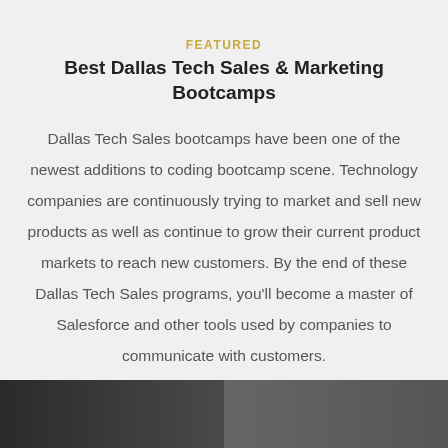FEATURED
Best Dallas Tech Sales & Marketing Bootcamps
Dallas Tech Sales bootcamps have been one of the newest additions to coding bootcamp scene. Technology companies are continuously trying to market and sell new products as well as continue to grow their current product markets to reach new customers. By the end of these Dallas Tech Sales programs, you'll become a master of Salesforce and other tools used by companies to communicate with customers.
[Figure (photo): Photo of a tech sales or classroom environment, dark toned image showing what appears to be a room or office setting]